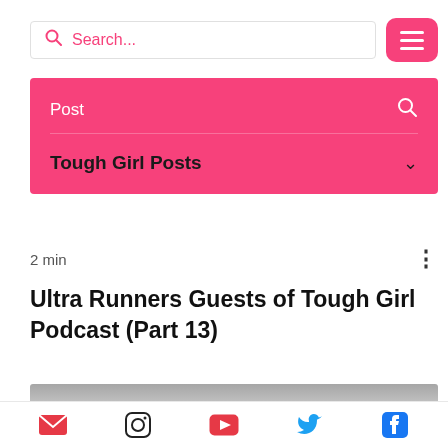[Figure (screenshot): Search bar with magnifying glass icon and pink placeholder text 'Search...' and pink menu button with three white horizontal lines]
[Figure (screenshot): Pink navigation bar with 'Post' text and search icon on top row, 'Tough Girl Posts' with chevron on second row]
2 min
Ultra Runners Guests of Tough Girl Podcast (Part 13)
[Figure (photo): Partial image strip at bottom of content area]
Social icons: email, Instagram, YouTube, Twitter, Facebook